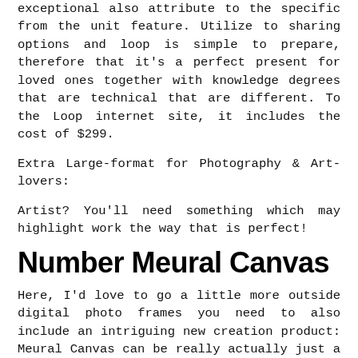exceptional also attribute to the specific from the unit feature. Utilize to sharing options and loop is simple to prepare, therefore that it's a perfect present for loved ones together with knowledge degrees that are technical that are different. To the Loop internet site, it includes the cost of $299.
Extra Large-format for Photography & Art-lovers:
Artist? You'll need something which may highlight work the way that is perfect!
Number Meural Canvas
Here, I'd love to go a little more outside digital photo frames you need to also include an intriguing new creation product: Meural Canvas can be really actually just a 27-inch digital framework with IPS display and anti-glare tech. Combining this with its 1920 X 1080 HD resolution that is full, it supplies a large format display and top quality of art